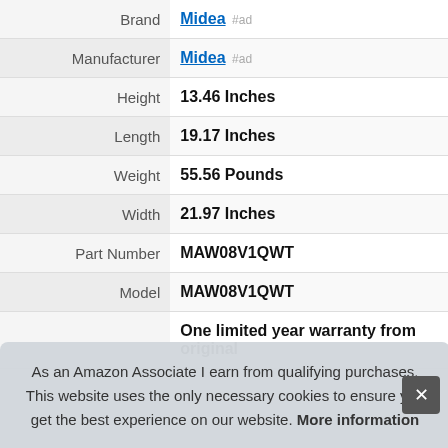| Attribute | Value |
| --- | --- |
| Brand | Midea #ad |
| Manufacturer | Midea #ad |
| Height | 13.46 Inches |
| Length | 19.17 Inches |
| Weight | 55.56 Pounds |
| Width | 21.97 Inches |
| Part Number | MAW08V1QWT |
| Model | MAW08V1QWT |
|  | One limited year warranty from original |
As an Amazon Associate I earn from qualifying purchases. This website uses the only necessary cookies to ensure you get the best experience on our website. More information